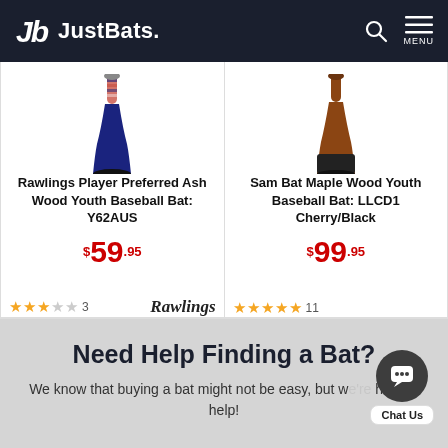JustBats.
[Figure (photo): Rawlings Player Preferred Ash Wood Youth Baseball Bat: Y62AUS product image showing bat handle and barrel]
Rawlings Player Preferred Ash Wood Youth Baseball Bat: Y62AUS
$59.95
★★★☆☆ 3 | Rawlings brand logo
[Figure (photo): Sam Bat Maple Wood Youth Baseball Bat: LLCD1 Cherry/Black product image showing bat handle and barrel]
Sam Bat Maple Wood Youth Baseball Bat: LLCD1 Cherry/Black
$99.95
★★★★★ 11
Need Help Finding a Bat?
We know that buying a bat might not be easy, but we're here to help!